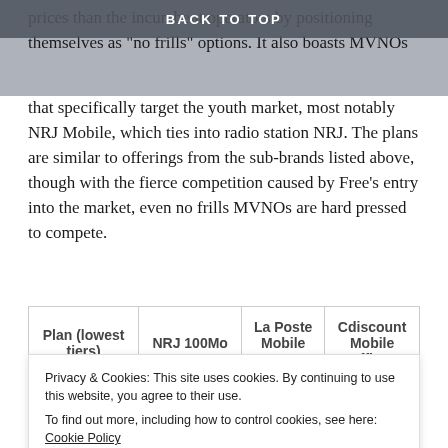BACK TO TOP
prices than the incumbent operators by positioning themselves as "no frills" options. It also boasts MVNOs that specifically target the youth market, most notably NRJ Mobile, which ties into radio station NRJ. The plans are similar to offerings from the sub-brands listed above, though with the fierce competition caused by Free's entry into the market, even no frills MVNOs are hard pressed to compete.
| Plan (lowest tiers) | NRJ 100Mo | La Poste Mobile 100Mo | Cdiscount Mobile L'efficace |
| --- | --- | --- | --- |
| Voice | Unlimited | Unlimited | 200 |
Privacy & Cookies: This site uses cookies. By continuing to use this website, you agree to their use.
To find out more, including how to control cookies, see here: Cookie Policy
Close and accept